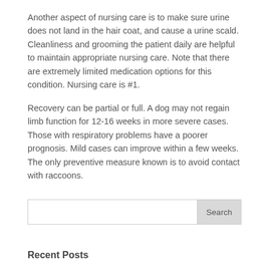Another aspect of nursing care is to make sure urine does not land in the hair coat, and cause a urine scald. Cleanliness and grooming the patient daily are helpful to maintain appropriate nursing care. Note that there are extremely limited medication options for this condition. Nursing care is #1.
Recovery can be partial or full. A dog may not regain limb function for 12-16 weeks in more severe cases. Those with respiratory problems have a poorer prognosis. Mild cases can improve within a few weeks. The only preventive measure known is to avoid contact with raccoons.
Recent Posts